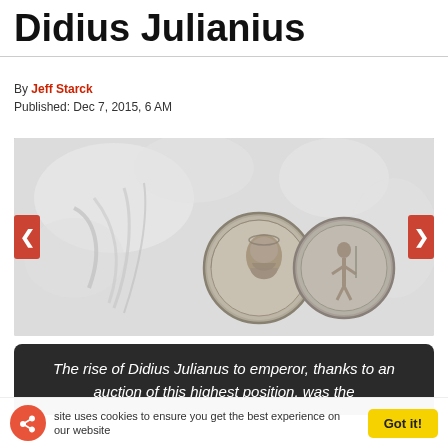Didius Julianius
By Jeff Starck
Published: Dec 7, 2015, 6 AM
[Figure (photo): Two ancient Roman silver coins (denarii) of Didius Julianus, showing obverse with portrait and reverse with standing figure, set against a white marble relief background. Navigation arrows on left and right sides.]
The rise of Didius Julianus to emperor, thanks to an auction of this highest position, was the
site uses cookies to ensure you get the best experience on our website